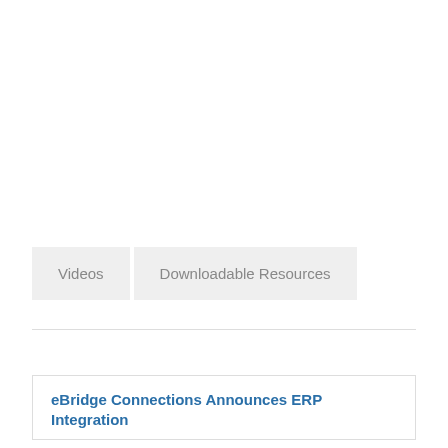Videos
Downloadable Resources
eBridge Connections Announces ERP Integration